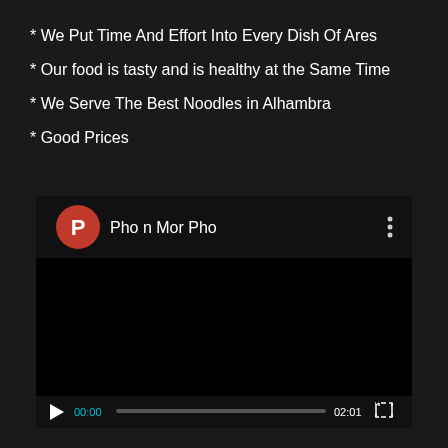* We Put Time And Effort Into Every Dish Of Ares
* Our food is tasty and is healthy at the Same Time
* We Serve The Best Noodles in Alhambra
* Good Prices
[Figure (screenshot): Video player screenshot showing channel 'Pho n Mor Pho' with orange P avatar icon, black video screen, playback controls showing 00:00 current time and 02:01 total duration, progress bar, and fullscreen button]